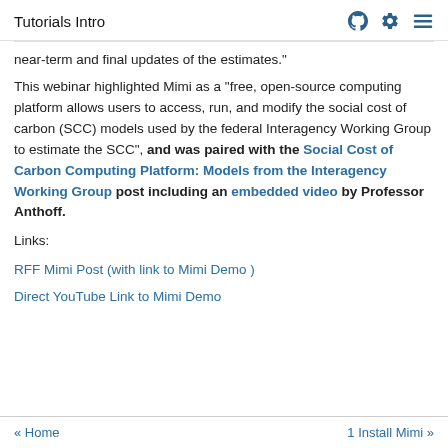Tutorials Intro
near-term and final updates of the estimates."
This webinar highlighted Mimi as a "free, open-source computing platform allows users to access, run, and modify the social cost of carbon (SCC) models used by the federal Interagency Working Group to estimate the SCC", and was paired with the Social Cost of Carbon Computing Platform: Models from the Interagency Working Group post including an embedded video by Professor Anthoff.
Links:
RFF Mimi Post (with link to Mimi Demo )
Direct YouTube Link to Mimi Demo
« Home   1 Install Mimi »